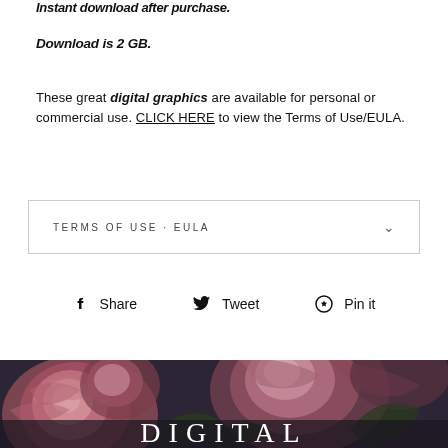Instant download after purchase.
Download is 2 GB.
These great digital graphics are available for personal or commercial use. CLICK HERE to view the Terms of Use/EULA.
TERMS OF USE · EULA
Share  Tweet  Pin it
[Figure (photo): Dark floral photograph showing pink roses and peonies against a dark background with the word DIGITAL overlaid in white serif text]